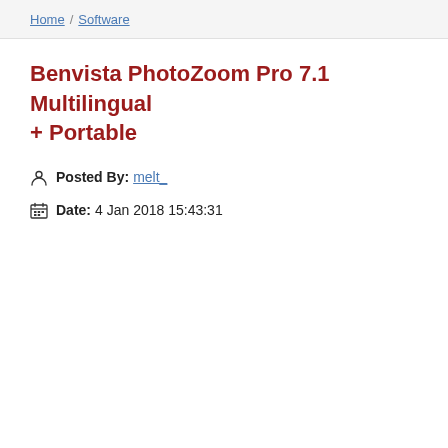Home / Software
Benvista PhotoZoom Pro 7.1 Multilingual + Portable
Posted By: melt_
Date: 4 Jan 2018 15:43:31